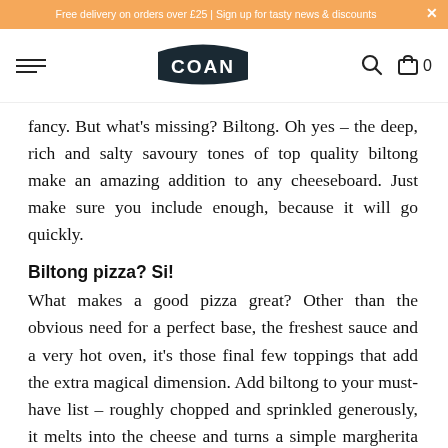Free delivery on orders over £25 | Sign up for tasty news & discounts
[Figure (logo): COAN brand logo in dark rounded rectangular badge shape]
fancy. But what's missing? Biltong. Oh yes – the deep, rich and salty savoury tones of top quality biltong make an amazing addition to any cheeseboard. Just make sure you include enough, because it will go quickly.
Biltong pizza? Si!
What makes a good pizza great? Other than the obvious need for a perfect base, the freshest sauce and a very hot oven, it's those final few toppings that add the extra magical dimension. Add biltong to your must-have list – roughly chopped and sprinkled generously, it melts into the cheese and turns a simple margherita into a mouth-watering meat feast that's brimming with